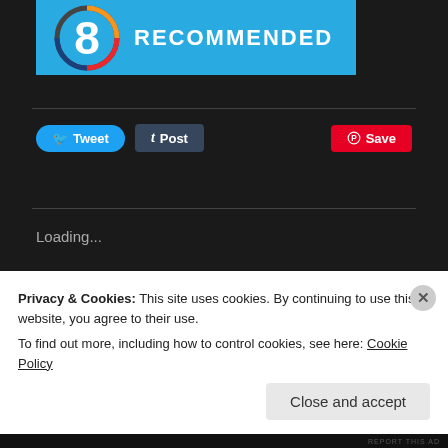[Figure (screenshot): Score badge showing '8 RECOMMENDED' on a blue background with a circular gauge in orange/red/blue gradient]
[Figure (screenshot): Social sharing buttons row: Tweet (Twitter/blue), Post (Tumblr/dark), Save (Pinterest/red)]
Loading...
Privacy & Cookies: This site uses cookies. By continuing to use this website, you agree to their use.
To find out more, including how to control cookies, see here: Cookie Policy
Close and accept